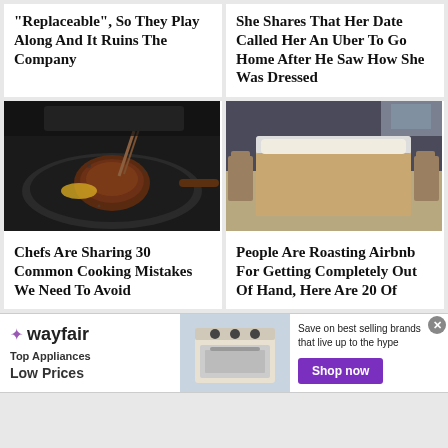"Replaceable", So They Play Along And It Ruins The Company
She Shares That Her Date Called Her An Uber To Go Home After He Saw How She Was Dressed
[Figure (photo): A steak being cooked in a cast iron pan on a stovetop with butter]
[Figure (photo): A bed with a tan/beige blanket in a sparse room with wooden chairs]
Chefs Are Sharing 30 Common Cooking Mistakes We Need To Avoid
People Are Roasting Airbnb For Getting Completely Out Of Hand, Here Are 20 Of
[Figure (infographic): Wayfair advertisement banner: Top Appliances Low Prices, with appliance image and Shop now button]